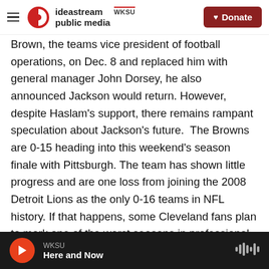ideastream public media | WKSU | Donate
Brown, the teams vice president of football operations, on Dec. 8 and replaced him with general manager John Dorsey, he also announced Jackson would return. However, despite Haslam's support, there remains rampant speculation about Jackson's future.  The Browns are 0-15 heading into this weekend's season finale with Pittsburgh. The team has shown little progress and are one loss from joining the 2008 Detroit Lions as the only 0-16 teams in NFL history. If that happens, some Cleveland fans plan to mark one of the worst seasons in professional sports with a parade around the Browns' downtown stadium.  Jackson
WKSU | Here and Now